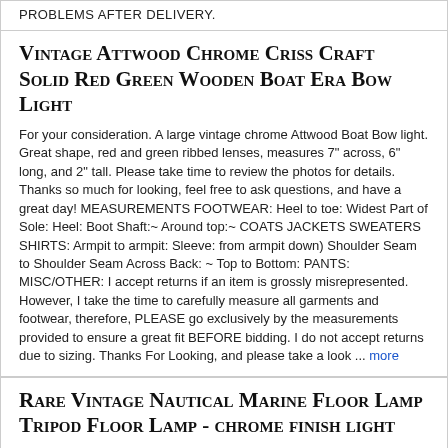PROBLEMS AFTER DELIVERY.
Vintage Attwood Chrome Criss Craft Solid Red Green Wooden Boat Era Bow Light
For your consideration. A large vintage chrome Attwood Boat Bow light. Great shape, red and green ribbed lenses, measures 7" across, 6" long, and 2" tall. Please take time to review the photos for details. Thanks so much for looking, feel free to ask questions, and have a great day! MEASUREMENTS FOOTWEAR: Heel to toe: Widest Part of Sole: Heel: Boot Shaft:~ Around top:~ COATS JACKETS SWEATERS SHIRTS: Armpit to armpit: Sleeve: from armpit down) Shoulder Seam to Shoulder Seam Across Back: ~ Top to Bottom: PANTS: MISC/OTHER: I accept returns if an item is grossly misrepresented. However, I take the time to carefully measure all garments and footwear, therefore, PLEASE go exclusively by the measurements provided to ensure a great fit BEFORE bidding. I do not accept returns due to sizing. Thanks For Looking, and please take a look ... more
Rare Vintage Nautical Marine Floor Lamp Tripod Floor Lamp - chrome finish light
Rare Vintage Nautical Marine Floor Lamp Tripod Floor Lamp- with Chrome finish light. PRODUCT DESCRIPTION: B rand N ew Designer nautical floor lamp. spot search light with tripod floor lamp stand. Hand crafted stunning designer nautical search light with wooden tripod stand. A fantastic nautical marine search signal lamp on a brown timber tripod. Timber has chrome fittings and the legs are easily adjustable with screw locks for desired height. T his floor lamp would be a great piece for any